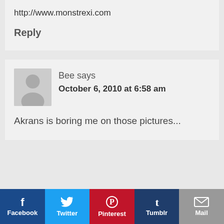http://www.monstrexi.com
Reply
Bee says
October 6, 2010 at 6:58 am
Akrans is boring me on those pictures...
[Figure (other): Social sharing bar with Facebook, Twitter, Pinterest, Tumblr, and Mail buttons]